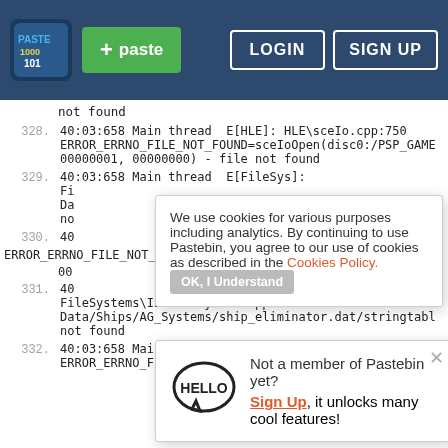Pastebin navigation bar with paste button, LOGIN and SIGN UP buttons
not found
328.  40:03:658 Main thread  E[HLE]: HLE\sceIo.cpp:750 ERROR_ERRNO_FILE_NOT_FOUND=sceIoOpen(disc0:/PSP_GAME 00000001, 00000000) - file not found
329.  40:03:658 Main thread  E[FileSys]: Fi Da no
330.  40
ERROR_ERRNO_FILE_NOT_FOUND=sceIoOpen(disc0:/PSP_GAME 00 40
331.  40 FileSystems\ISOFileSystem.cpp:330 File Data/Ships/AG_Systems/ship_eliminator.dat/stringtabl not found
332.  40:03:658 Main thread  E[HLE]: HLE\sceIo.cpp:750 ERROR_ERRNO_FILE_NOT_FOUND=sceIoOpen(disc0:/PSP_GAME
[Figure (screenshot): Cookie consent popup: 'We use cookies for various purposes including analytics. By continuing to use Pastebin, you agree to our use of cookies as described in the Cookies Policy. OK, I Understand']
[Figure (infographic): Hello speech bubble with 'Not a member of Pastebin yet? Sign Up, it unlocks many cool features!']